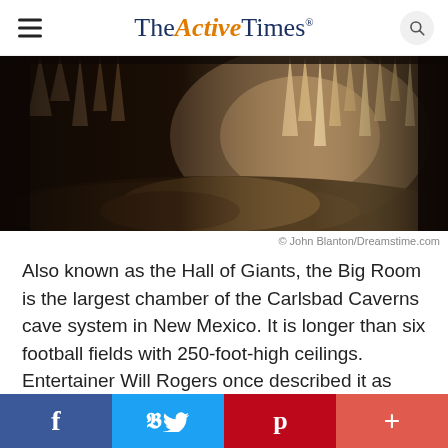The Active Times
[Figure (photo): Interior of Carlsbad Caverns showing stalactites and cave formations in sepia-toned lighting]
© John Blanton/Dreamstime.com
Also known as the Hall of Giants, the Big Room is the largest chamber of the Carlsbad Caverns cave system in New Mexico. It is longer than six football fields with 250-foot-high ceilings. Entertainer Will Rogers once described it as "the Grand Canyon with a roof over it."
Facebook | Twitter | Pinterest | Plus